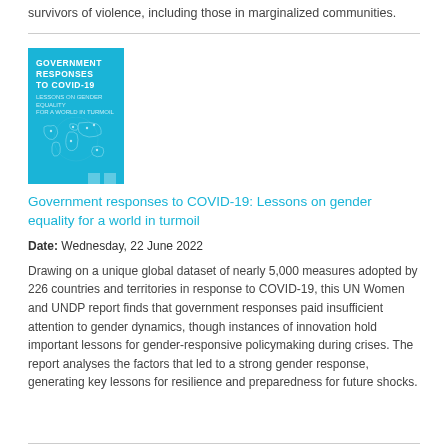survivors of violence, including those in marginalized communities.
[Figure (illustration): Book cover: 'Government Responses to COVID-19' with a light blue background and world map outline illustration. Published by UN Women and UNDP.]
Government responses to COVID-19: Lessons on gender equality for a world in turmoil
Date: Wednesday, 22 June 2022
Drawing on a unique global dataset of nearly 5,000 measures adopted by 226 countries and territories in response to COVID-19, this UN Women and UNDP report finds that government responses paid insufficient attention to gender dynamics, though instances of innovation hold important lessons for gender-responsive policymaking during crises. The report analyses the factors that led to a strong gender response, generating key lessons for resilience and preparedness for future shocks.